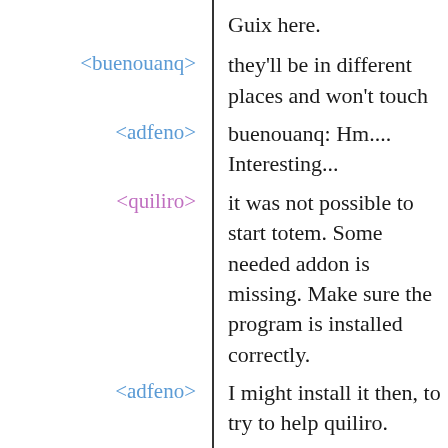Guix here.
<buenouanq>  they'll be in different places and won't touch
<adfeno>  buenouanq: Hm.... Interesting...
<quiliro>  it was not possible to start totem. Some needed addon is missing. Make sure the program is installed correctly.
<adfeno>  I might install it then, to try to help quiliro.
<adfeno>  quiliro: Hm... I'll try to start Totem here.
<quiliro>  Element 'scaletemno' is